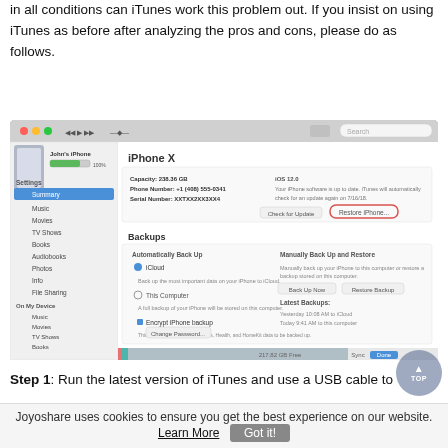in all conditions can iTunes work this problem out. If you insist on using iTunes as before after analyzing the pros and cons, please do as follows.
[Figure (screenshot): iTunes application window showing iPhone X summary page with Backups section, Settings sidebar, storage bar at bottom, and a red circle highlighting the 'Restore iPhone...' button.]
Step 1: Run the latest version of iTunes and use a USB cable to
Joyoshare uses cookies to ensure you get the best experience on our website. Learn More  Got it!